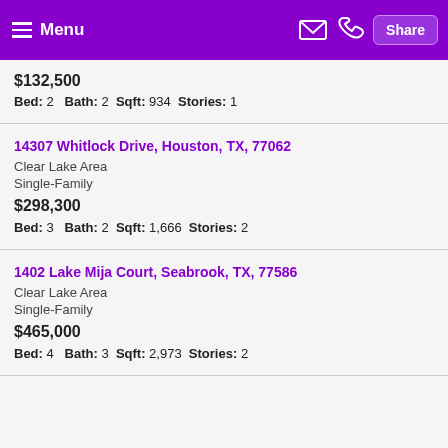Menu | Share
$132,500
Bed: 2  Bath: 2  Sqft: 934  Stories: 1
14307 Whitlock Drive, Houston, TX, 77062
Clear Lake Area
Single-Family
$298,300
Bed: 3  Bath: 2  Sqft: 1,666  Stories: 2
1402 Lake Mija Court, Seabrook, TX, 77586
Clear Lake Area
Single-Family
$465,000
Bed: 4  Bath: 3  Sqft: 2,973  Stories: 2